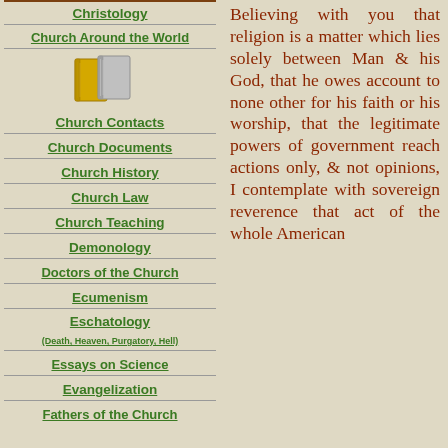Christology
Church Around the World
[Figure (illustration): Two books or folders icon, one yellow/gold and one silver/grey]
Church Contacts
Church Documents
Church History
Church Law
Church Teaching
Demonology
Doctors of the Church
Ecumenism
Eschatology (Death, Heaven, Purgatory, Hell)
Essays on Science
Evangelization
Fathers of the Church
Believing with you that religion is a matter which lies solely between Man & his God, that he owes account to none other for his faith or his worship, that the legitimate powers of government reach actions only, & not opinions, I contemplate with sovereign reverence that act of the whole American